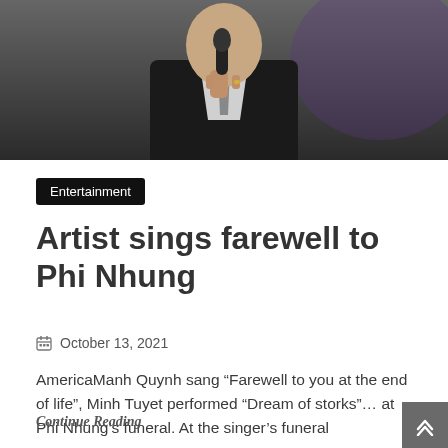[Figure (photo): A man in a dark suit holding a microphone, photographed from chest up against a dark background with purple lighting.]
Entertainment
Artist sings farewell to Phi Nhung
October 13, 2021
AmericaManh Quynh sang “Farewell to you at the end of life”, Minh Tuyet performed “Dream of storks”… at Phi Nhung’s funeral. At the singer’s funeral
Continue Reading